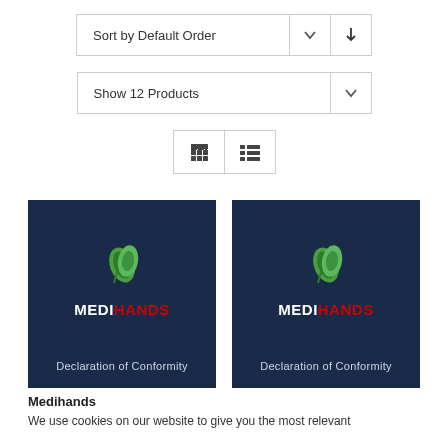[Figure (screenshot): Sort by Default Order dropdown control with chevron and down-arrow button]
[Figure (screenshot): Show 12 Products dropdown control with chevron]
[Figure (screenshot): Grid and list view toggle buttons]
[Figure (logo): Medihands Declaration of Conformity product card with navy background, green leaf logo, MEDI in white and HANDS in red]
[Figure (logo): Medihands Declaration of Conformity product card with navy background, green leaf logo, MEDI in white and HANDS in red]
Medihands
We use cookies on our website to give you the most relevant